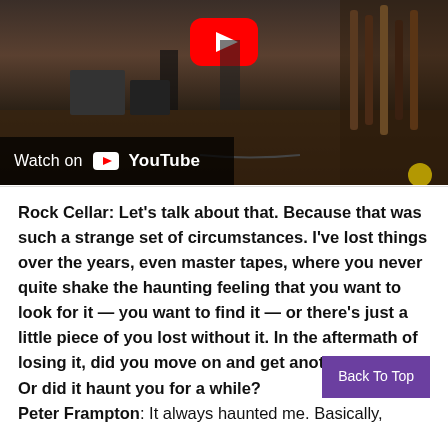[Figure (screenshot): YouTube video thumbnail showing people in what appears to be a guitar store with a YouTube play button overlay and 'Watch on YouTube' bar at the bottom left]
Rock Cellar: Let's talk about that. Because that was such a strange set of circumstances. I've lost things over the years, even master tapes, where you never quite shake the haunting feeling that you want to look for it — you want to find it — or there's just a little piece of you lost without it. In the aftermath of losing it, did you move on and get another guitar? Or did it haunt you for a while?
Peter Frampton: It always haunted me. Basically,